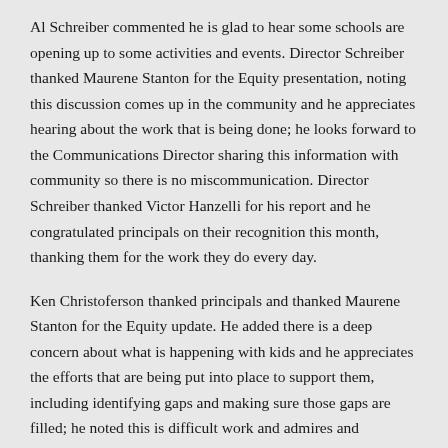Al Schreiber commented he is glad to hear some schools are opening up to some activities and events. Director Schreiber thanked Maurene Stanton for the Equity presentation, noting this discussion comes up in the community and he appreciates hearing about the work that is being done; he looks forward to the Communications Director sharing this information with community so there is no miscommunication. Director Schreiber thanked Victor Hanzelli for his report and he congratulated principals on their recognition this month, thanking them for the work they do every day.
Ken Christoferson thanked principals and thanked Maurene Stanton for the Equity update. He added there is a deep concern about what is happening with kids and he appreciates the efforts that are being put into place to support them, including identifying gaps and making sure those gaps are filled; he noted this is difficult work and admires and appreciates those who are stepping up to make it happen. Director Christoferson thanked the student advisors for providing input on the vaccine discussion, adding it is of great benefit to the board to hear student perspective; he encouraged them to continue to have their